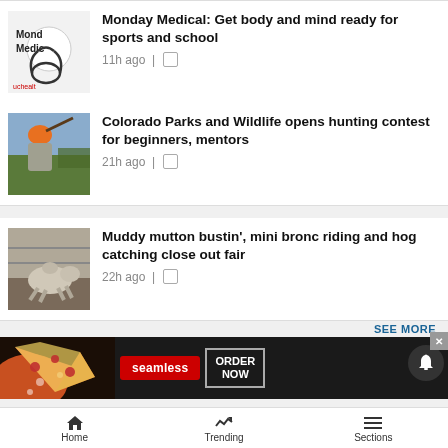[Figure (photo): Monday Medical logo thumbnail with stethoscope]
Monday Medical: Get body and mind ready for sports and school
11h ago |
[Figure (photo): Person in orange hat holding a rifle in a field]
Colorado Parks and Wildlife opens hunting contest for beginners, mentors
21h ago |
[Figure (photo): Rodeo scene with horse and rider in mud]
Muddy mutton bustin', mini bronc riding and hog catching close out fair
22h ago |
SEE MORE
[Figure (photo): Seamless food delivery advertisement banner with pizza and ORDER NOW button]
Home | Trending | Sections